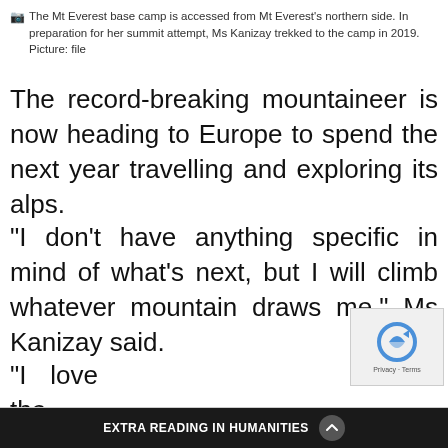📷 The Mt Everest base camp is accessed from Mt Everest's northern side. In preparation for her summit attempt, Ms Kanizay trekked to the camp in 2019. Picture: file
The record-breaking mountaineer is now heading to Europe to spend the next year travelling and exploring its alps.
“I don’t have anything specific in mind of what’s next, but I will climb whatever mountain draws me,” Ms Kanizay said.
“I love the mountains and I just want to keep climbing.”
EXTRA READING IN HUMANITIES